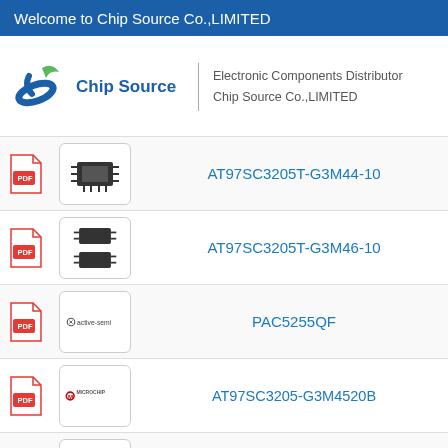Welcome to Chip Source Co.,LIMITED
[Figure (logo): Chip Source company logo with blue/green swoosh icon and company name]
Electronic Components Distributor
Chip Source Co.,LIMITED
AT97SC3205T-G3M44-10
AT97SC3205T-G3M46-10
PAC5255QF
AT97SC3205-G3M4520B
AT97SC3205T-G3M4420B